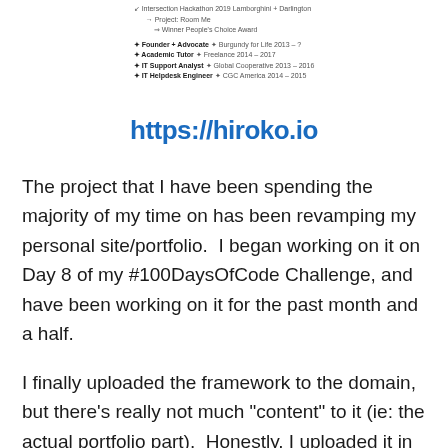[Figure (screenshot): Partial screenshot of a resume/CV listing items including Founder, Advocate, Academic Tutor, IT Support Analyst, IT Helpdesk Engineer with dates]
https://hiroko.io
The project that I have been spending the majority of my time on has been revamping my personal site/portfolio.  I began working on it on Day 8 of my #100DaysOfCode Challenge, and have been working on it for the past month and a half.
I finally uploaded the framework to the domain, but there’s really not much “content” to it (ie: the actual portfolio part).  Honestly, I uploaded it in a